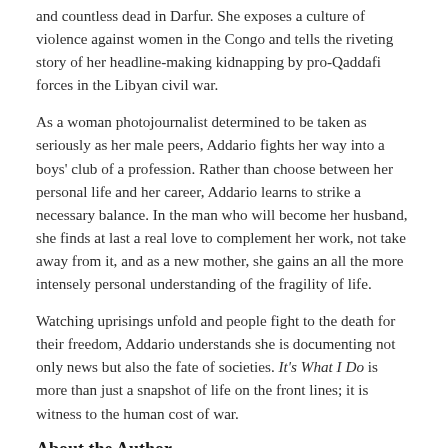and countless dead in Darfur. She exposes a culture of violence against women in the Congo and tells the riveting story of her headline-making kidnapping by pro-Qaddafi forces in the Libyan civil war.
As a woman photojournalist determined to be taken as seriously as her male peers, Addario fights her way into a boys' club of a profession. Rather than choose between her personal life and her career, Addario learns to strike a necessary balance. In the man who will become her husband, she finds at last a real love to complement her work, not take away from it, and as a new mother, she gains an all the more intensely personal understanding of the fragility of life.
Watching uprisings unfold and people fight to the death for their freedom, Addario understands she is documenting not only news but also the fate of societies. It's What I Do is more than just a snapshot of life on the front lines; it is witness to the human cost of war.
About the Author